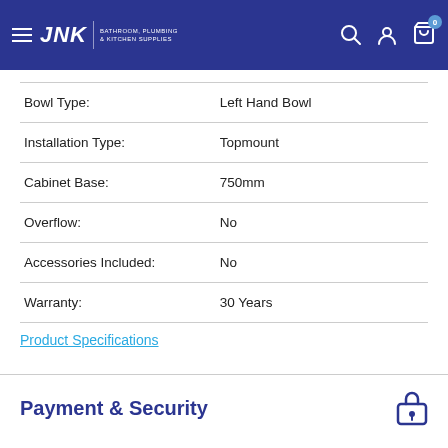JNK | BATHROOM, PLUMBING & KITCHEN SUPPLIES
| Attribute | Value |
| --- | --- |
| Bowl Type: | Left Hand Bowl |
| Installation Type: | Topmount |
| Cabinet Base: | 750mm |
| Overflow: | No |
| Accessories Included: | No |
| Warranty: | 30 Years |
Product Specifications
Payment & Security